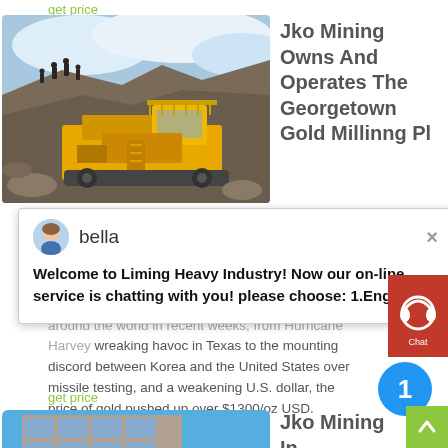get price
[Figure (photo): Yellow mining/crushing machine on a rocky site with people standing on the hill in the background, cloudy sky]
Jko Mining Owns And Operates The Georgetown Gold Millinng Pl
[Figure (screenshot): Chat widget with avatar of 'bella' and message: Welcome to Liming Heavy Industry! Now our on-line service is chatting with you! please choose: 1.English]
around the world in recent weeks, from Hurricane Harvey wreaking havoc in Texas to the mounting discord between Korea and the United States over missile testing, and a weakening U.S. dollar, the price of gold pushed up over $1300/oz USD.
get price
[Figure (photo): Building exterior with windows, blue sky background]
Jko Mining In Georgetown